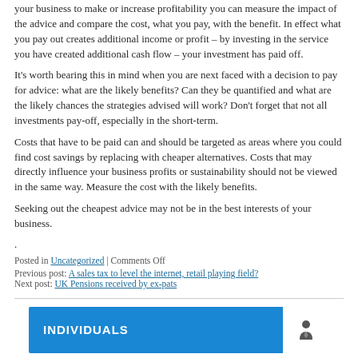your business to make or increase profitability you can measure the impact of the advice and compare the cost, what you pay, with the benefit. In effect what you pay out creates additional income or profit – by investing in the service you have created additional cash flow – your investment has paid off.
It's worth bearing this in mind when you are next faced with a decision to pay for advice: what are the likely benefits? Can they be quantified and what are the likely chances the strategies advised will work? Don't forget that not all investments pay-off, especially in the short-term.
Costs that have to be paid can and should be targeted as areas where you could find cost savings by replacing with cheaper alternatives. Costs that may directly influence your business profits or sustainability should not be viewed in the same way. Measure the cost with the likely benefits.
Seeking out the cheapest advice may not be in the best interests of your business.
.
Posted in Uncategorized | Comments Off
Previous post: A sales tax to level the internet, retail playing field?
Next post: UK Pensions received by ex-pats
[Figure (infographic): Blue banner with white text 'INDIVIDUALS' and a white square icon showing a person with a tie (business person icon) on the right side]